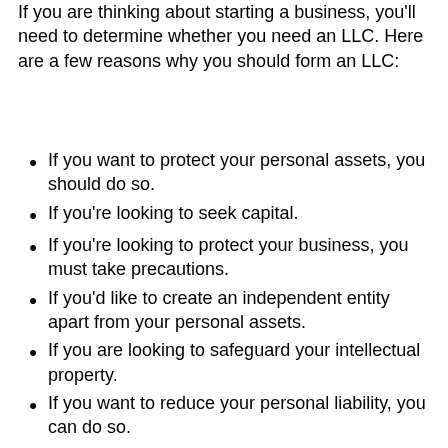If you are thinking about starting a business, you'll need to determine whether you need an LLC. Here are a few reasons why you should form an LLC:
If you want to protect your personal assets, you should do so.
If you're looking to seek capital.
If you're looking to protect your business, you must take precautions.
If you'd like to create an independent entity apart from your personal assets.
If you are looking to safeguard your intellectual property.
If you want to reduce your personal liability, you can do so.